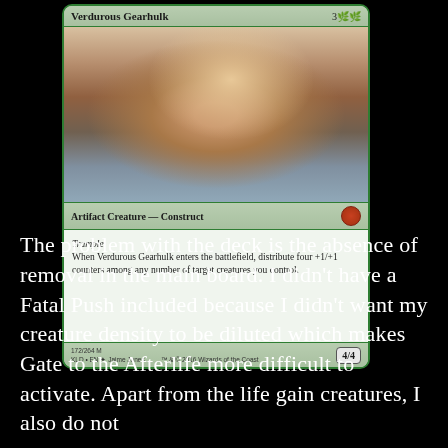[Figure (illustration): Magic: The Gathering card named 'Verdurous Gearhulk', an Artifact Creature — Construct with Trample ability, cost 3GG, power/toughness 4/4, card number 172/264, set KLD.]
The problem with the deck is the absence of removal in the main board. I didn't have a Fatal Push included because I didn't want my creature density to be diluted which makes Gate to the Afterlife more difficult to activate. Apart from the life gain creatures, I also do not